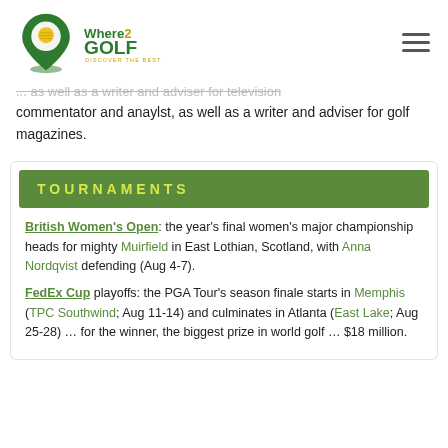Where2Golf - Discover the Best
... commentator and anaylst, as well as a writer and adviser for golf magazines.
TOURNAMENTS
British Women's Open: the year's final women's major championship heads for mighty Muirfield in East Lothian, Scotland, with Anna Nordqvist defending (Aug 4-7).
FedEx Cup playoffs: the PGA Tour's season finale starts in Memphis (TPC Southwind; Aug 11-14) and culminates in Atlanta (East Lake; Aug 25-28) … for the winner, the biggest prize in world golf … $18 million.